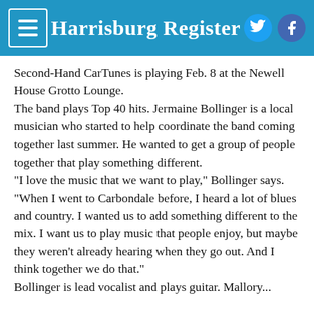Harrisburg Register
Second-Hand CarTunes is playing Feb. 8 at the Newell House Grotto Lounge.
The band plays Top 40 hits. Jermaine Bollinger is a local musician who started to help coordinate the band coming together last summer. He wanted to get a group of people together that play something different.
"I love the music that we want to play," Bollinger says. "When I went to Carbondale before, I heard a lot of blues and country. I wanted us to add something different to the mix. I want us to play music that people enjoy, but maybe they weren't already hearing when they go out. And I think together we do that."
Bollinger is lead vocalist and plays guitar. Mallory...